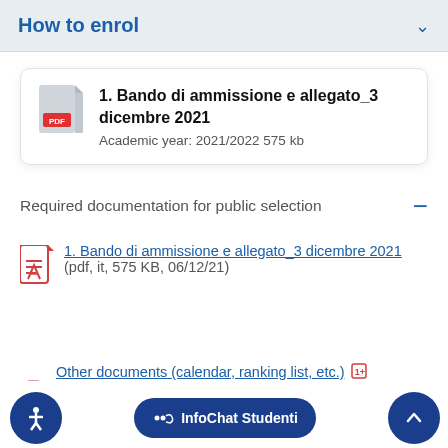How to enrol
[Figure (other): PDF file card showing '1. Bando di ammissione e allegato_3 dicembre 2021' with gray PDF icon, bold title, and metadata 'Academic year: 2021/2022 575 kb']
Required documentation for public selection
1. Bando di ammissione e allegato_3 dicembre 2021 (pdf, it, 575 KB, 06/12/21)
Other documents (calendar, ranking list, etc.)